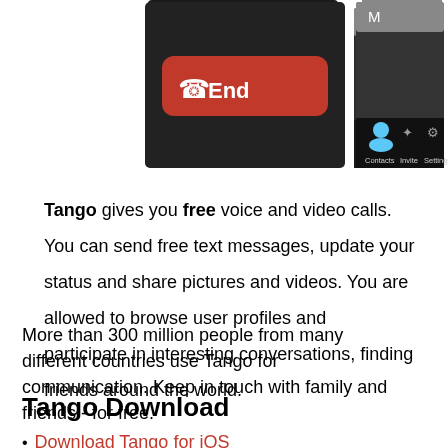[Figure (screenshot): Two smartphone screenshots of the Tango app. Left screenshot shows a red 'End' call button on a dark background. Right screenshot shows the Tango app interface with Contacts, Invite, and Settings tabs on a dark navigation bar, with a blue person icon under Contacts tab and 'M' label at top.]
Tango gives you free voice and video calls.

You can send free text messages, update your status and share pictures and videos. You are allowed to browse user profiles and participate in interesting conversations, finding friends around the world.
More than 300 million people from many different countries use Tango for communication. Keep in touch with family and friends - for free.
Tango Download
Download Tango for iOS
Download Tango for Android